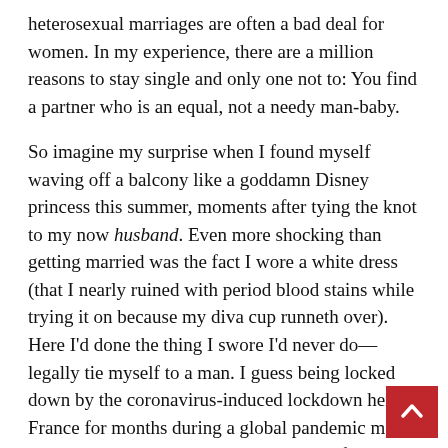heterosexual marriages are often a bad deal for women. In my experience, there are a million reasons to stay single and only one not to: You find a partner who is an equal, not a needy man-baby.
So imagine my surprise when I found myself waving off a balcony like a goddamn Disney princess this summer, moments after tying the knot to my now husband. Even more shocking than getting married was the fact I wore a white dress (that I nearly ruined with period blood stains while trying it on because my diva cup runneth over). Here I'd done the thing I swore I'd never do—legally tie myself to a man. I guess being locked down by the coronavirus-induced lockdown here in France for months during a global pandemic made me rethink this marriage thing. Life comes at you fast!
[Figure (other): Red back-to-top button with white upward chevron arrow in bottom-right corner]